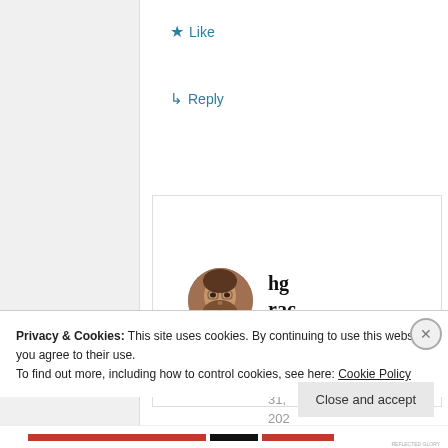★ Like
↳ Reply
[Figure (photo): Circular avatar photo of a person (hgraca)]
hgraca
July 31, 202
Privacy & Cookies: This site uses cookies. By continuing to use this website, you agree to their use.
To find out more, including how to control cookies, see here: Cookie Policy
Close and accept